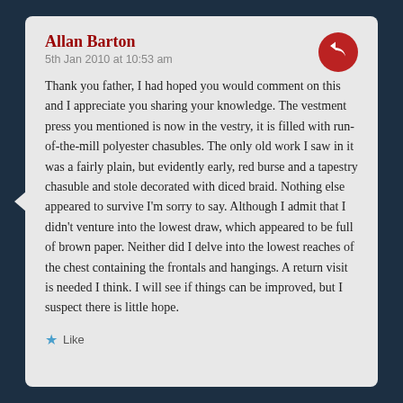Allan Barton
5th Jan 2010 at 10:53 am
Thank you father, I had hoped you would comment on this and I appreciate you sharing your knowledge. The vestment press you mentioned is now in the vestry, it is filled with run-of-the-mill polyester chasubles. The only old work I saw in it was a fairly plain, but evidently early, red burse and a tapestry chasuble and stole decorated with diced braid. Nothing else appeared to survive I'm sorry to say. Although I admit that I didn't venture into the lowest draw, which appeared to be full of brown paper. Neither did I delve into the lowest reaches of the chest containing the frontals and hangings. A return visit is needed I think. I will see if things can be improved, but I suspect there is little hope.
Like